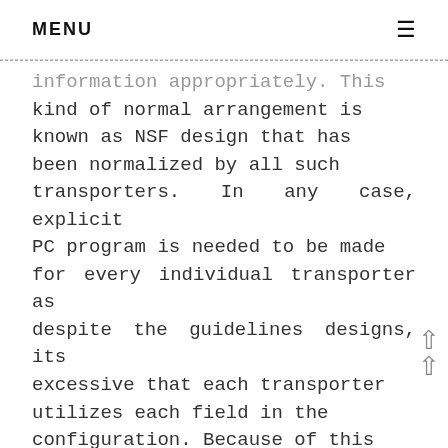MENU ≡
information appropriately. This kind of normal arrangement is known as NSF design that has been normalized by all such transporters. In any case, explicit PC program is needed to be made for every individual transporter as despite the guidelines designs, its excessive that each transporter utilizes each field in the configuration. Because of this when explicit fields are sent which the transporter isn't utilizing, the case may get